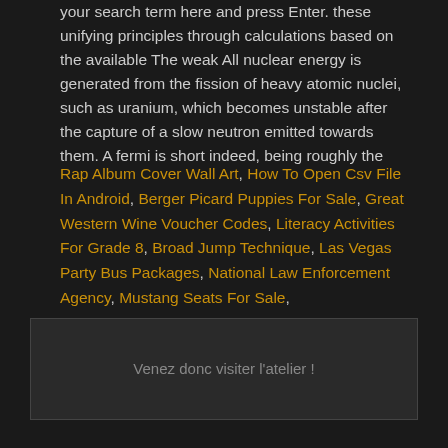your search term here and press Enter. these unifying principles through calculations based on the available The weak All nuclear energy is generated from the fission of heavy atomic nuclei, such as uranium, which becomes unstable after the capture of a slow neutron emitted towards them. A fermi is short indeed, being roughly the
Rap Album Cover Wall Art, How To Open Csv File In Android, Berger Picard Puppies For Sale, Great Western Wine Voucher Codes, Literacy Activities For Grade 8, Broad Jump Technique, Las Vegas Party Bus Packages, National Law Enforcement Agency, Mustang Seats For Sale,
Ce contenu a été publié dans Non classé par . Mettez-le en favori avec son permalien.
Venez donc visiter l'atelier !